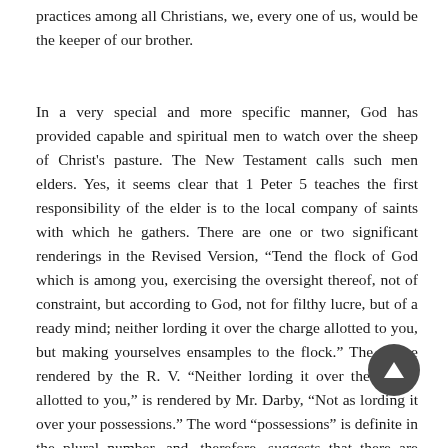practices among all Christians, we, every one of us, would be the keeper of our brother.
In a very special and more specific manner, God has provided capable and spiritual men to watch over the sheep of Christ's pasture. The New Testament calls such men elders. Yes, it seems clear that 1 Peter 5 teaches the first responsibility of the elder is to the local company of saints with which he gathers. There are one or two significant renderings in the Revised Version, “Tend the flock of God which is among you, exercising the oversight thereof, not of constraint, but according to God, not for filthy lucre, but of a ready mind; neither lording it over the charge allotted to you, but making yourselves ensamples to the flock.” The clause rendered by the R. V. “Neither lording it over the charge allotted to you,” is rendered by Mr. Darby, “Not as lording it over your possessions.” The word “possessions” is definite in the plural number, and, therefore, suggests that there are many possible charges, or, to use your own expression, many
[Figure (other): A circular dark grey scroll-to-top button with an upward-pointing triangle arrow, overlaid on the bottom-right area of the text.]